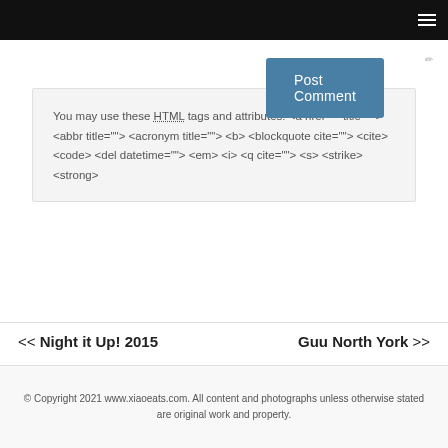You may use these HTML tags and attributes: <a href="" title=""> <abbr title=""> <acronym title=""> <b> <blockquote cite=""> <cite> <code> <del datetime=""> <em> <i> <q cite=""> <s> <strike> <strong>
Post Comment
<< Night it Up! 2015       Guu North York >>
© Copyright 2021 www.xiaoeats.com. All content and photographs unless otherwise stated are original work and property.